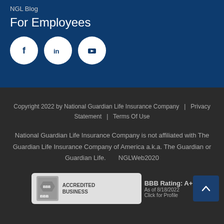NGL Blog
For Employees
[Figure (other): Social media icons: Facebook, LinkedIn, YouTube (white icons on circular white backgrounds on dark blue)]
Copyright 2022 by National Guardian Life Insurance Company | Privacy Statement | Terms Of Use

National Guardian Life Insurance Company is not affiliated with The Guardian Life Insurance Company of America a.k.a. The Guardian or Guardian Life.      NGLWeb2020
[Figure (other): BBB Accredited Business badge with BBB Rating: A+, As of 8/18/2022, Click for Profile]
[Figure (other): Back to top button with upward arrow chevron]